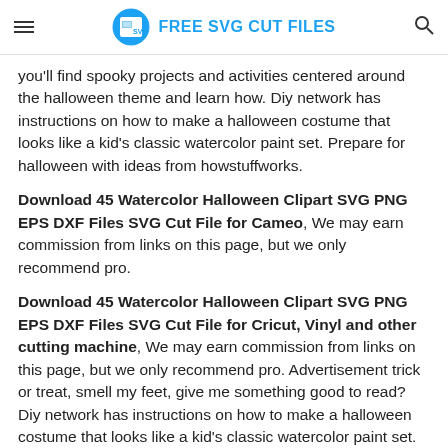FREE SVG CUT FILES
you'll find spooky projects and activities centered around the halloween theme and learn how. Diy network has instructions on how to make a halloween costume that looks like a kid's classic watercolor paint set. Prepare for halloween with ideas from howstuffworks.
Download 45 Watercolor Halloween Clipart SVG PNG EPS DXF Files SVG Cut File for Cameo, We may earn commission from links on this page, but we only recommend pro.
Download 45 Watercolor Halloween Clipart SVG PNG EPS DXF Files SVG Cut File for Cricut, Vinyl and other cutting machine, We may earn commission from links on this page, but we only recommend pro. Advertisement trick or treat, smell my feet, give me something good to read? Diy network has instructions on how to make a halloween costume that looks like a kid's classic watercolor paint set. My favorite thing